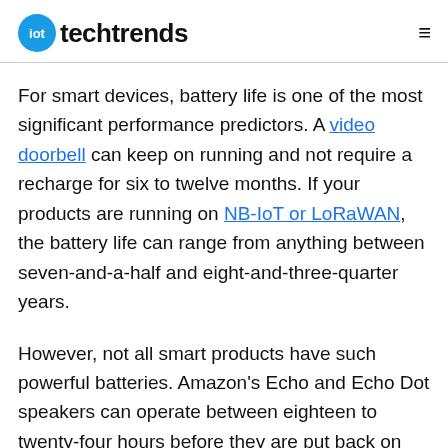iot techtrends
For smart devices, battery life is one of the most significant performance predictors. A video doorbell can keep on running and not require a recharge for six to twelve months. If your products are running on NB-IoT or LoRaWAN, the battery life can range from anything between seven-and-a-half and eight-and-three-quarter years.
However, not all smart products have such powerful batteries. Amazon's Echo and Echo Dot speakers can operate between eighteen to twenty-four hours before they are put back on the charging station.